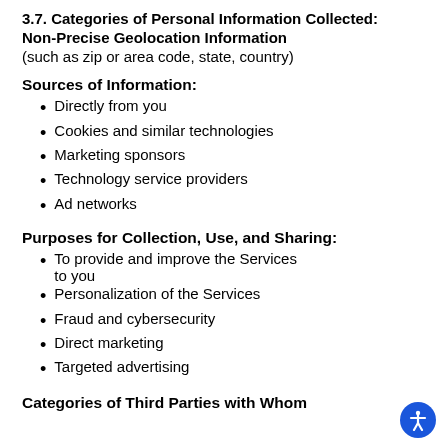3.7. Categories of Personal Information Collected: Non-Precise Geolocation Information (such as zip or area code, state, country)
Sources of Information:
Directly from you
Cookies and similar technologies
Marketing sponsors
Technology service providers
Ad networks
Purposes for Collection, Use, and Sharing:
To provide and improve the Services to you
Personalization of the Services
Fraud and cybersecurity
Direct marketing
Targeted advertising
Categories of Third Parties with Whom